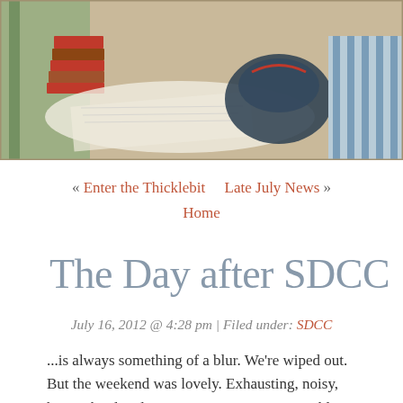[Figure (illustration): Illustrated banner header showing a cozy scene with books stacked on a table, papers scattered, a bag, and striped furniture, with text overlay 'Here in the Bonny Glen' on a purple ribbon banner]
« Enter the Thicklebit   Late July News »
Home
The Day after SDCC
July 16, 2012 @ 4:28 pm | Filed under: SDCC
...is always something of a blur. We're wiped out. But the weekend was lovely. Exhausting, noisy, hectic, but lovely. A recap to come. Presumably. For now, a long happy sigh.